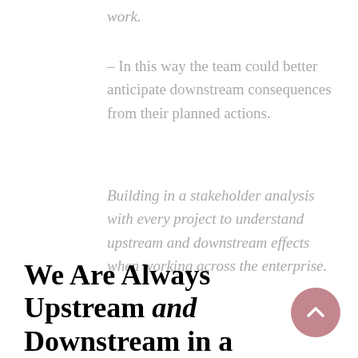work.
– In this way the team could better anticipate downstream consequences from their planned actions.
Building in a stakeholder analysis with every project to understand upstream and downstream effects when working across the enterprise.
We Are Always Upstream and Downstream in a